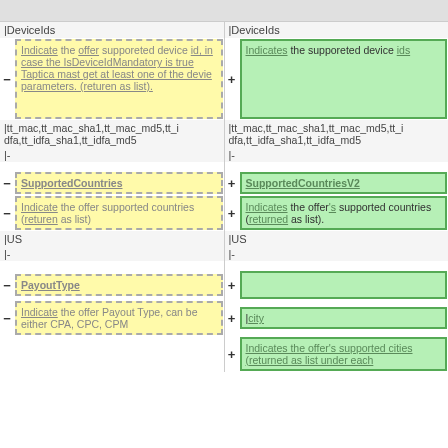| Left (old) | Right (new) |
| --- | --- |
| DeviceIds header (gray) | DeviceIds header (gray) |
| - [yellow dashed] Indicate the offer supporteted device id, in case the IsDeviceIdMandatory is true Taptica mast get at least one of the devie parameters. (returen as list). | + [green solid] Indicates the supporeted device ids |
| |tt_mac,tt_mac_sha1,tt_mac_md5,tt_i dfa,tt_idfa_sha1,tt_idfa_md5 | |tt_mac,tt_mac_sha1,tt_mac_md5,tt_i dfa,tt_idfa_sha1,tt_idfa_md5 |
| |- | |- |
| (spacer) | (spacer) |
| - [yellow dashed] SupportedCountries | + [green solid] SupportedCountriesV2 |
| - [yellow dashed] Indicate the offer supported countries (returen as list) | + [green solid] Indicates the offer's supported countries (returned as list). |
| |US | |US |
| |- | |- |
| (spacer) | (spacer) |
| - [yellow dashed] PayoutType | + [green solid] (empty) |
| - [yellow dashed] Indicate the offer Payout Type, can be either CPA, CPC, CPM | + [green solid] |city |
|  | + [green solid] Indicates the offer's supported cities (returned as list under each |